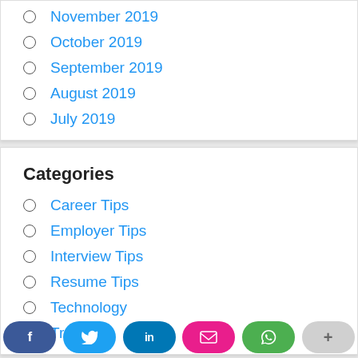November 2019
October 2019
September 2019
August 2019
July 2019
Categories
Career Tips
Employer Tips
Interview Tips
Resume Tips
Technology
Trending
[Figure (infographic): Social sharing buttons row: Facebook (dark blue), Twitter (light blue), LinkedIn (dark blue), Email (pink), WhatsApp (green), More (gray)]